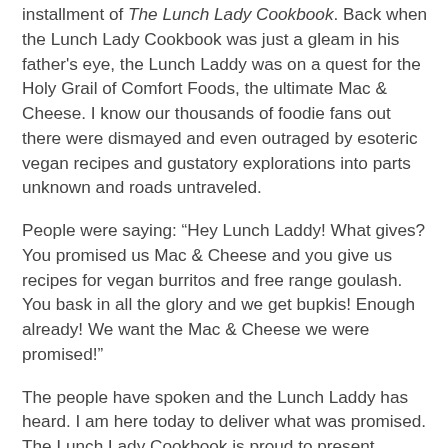installment of The Lunch Lady Cookbook. Back when the Lunch Lady Cookbook was just a gleam in his father's eye, the Lunch Laddy was on a quest for the Holy Grail of Comfort Foods, the ultimate Mac & Cheese. I know our thousands of foodie fans out there were dismayed and even outraged by esoteric vegan recipes and gustatory explorations into parts unknown and roads untraveled.
People were saying: “Hey Lunch Laddy! What gives? You promised us Mac & Cheese and you give us recipes for vegan burritos and free range goulash. You bask in all the glory and we get bupkis! Enough already! We want the Mac & Cheese we were promised!”
The people have spoken and the Lunch Laddy has heard. I am here today to deliver what was promised. The Lunch Lady Cookbook is proud to present Achin’ For Bacon Mac & Cheese!
The ingredient will be the first to tell you about...